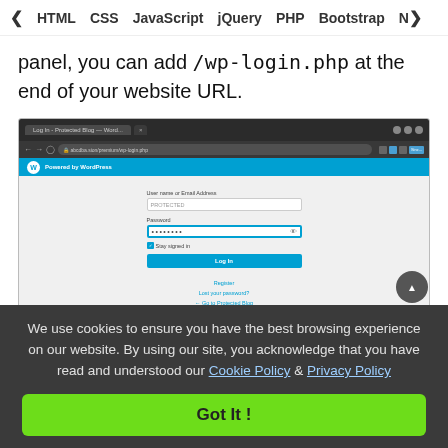❮  HTML   CSS   JavaScript   jQuery   PHP   Bootstrap   N❯
panel, you can add /wp-login.php at the end of your website URL.
[Figure (screenshot): Browser screenshot showing WordPress login page at wp-login.php URL, with username/email and password fields, Stay signed in checkbox, and Log In button]
We use cookies to ensure you have the best browsing experience on our website. By using our site, you acknowledge that you have read and understood our Cookie Policy & Privacy Policy
Got It !